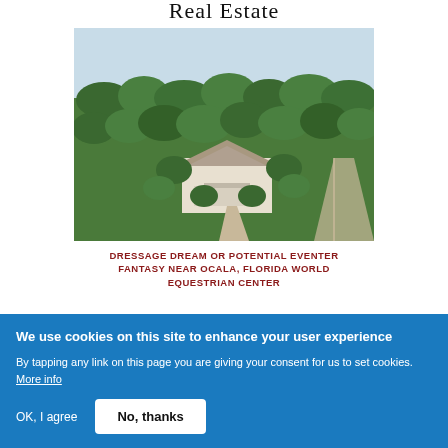Real Estate
[Figure (photo): Aerial drone photograph of a rural estate with a large white house surrounded by green trees and open land, with a driveway leading to the property.]
DRESSAGE DREAM OR POTENTIAL EVENTER FANTASY NEAR OCALA, FLORIDA WORLD EQUESTRIAN CENTER
We use cookies on this site to enhance your user experience
By tapping any link on this page you are giving your consent for us to set cookies. More info
OK, I agree
No, thanks